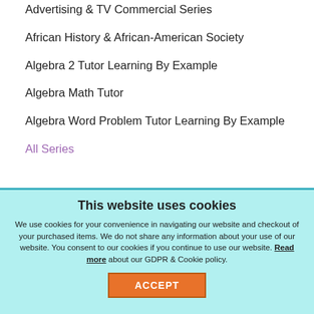Advertising & TV Commercial Series
African History & African-American Society
Algebra 2 Tutor Learning By Example
Algebra Math Tutor
Algebra Word Problem Tutor Learning By Example
All Series
This website uses cookies
We use cookies for your convenience in navigating our website and checkout of your purchased items. We do not share any information about your use of our website. You consent to our cookies if you continue to use our website. Read more about our GDPR & Cookie policy.